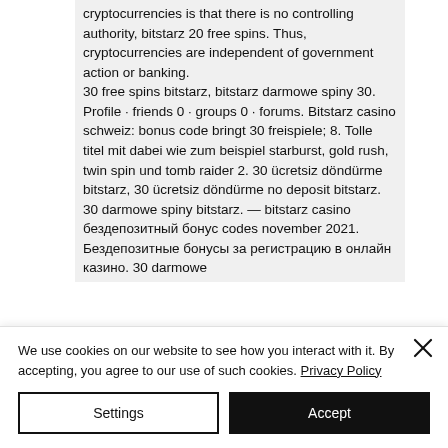cryptocurrencies is that there is no controlling authority, bitstarz 20 free spins. Thus, cryptocurrencies are independent of government action or banking. 30 free spins bitstarz, bitstarz darmowe spiny 30. Profile · friends 0 · groups 0 · forums. Bitstarz casino schweiz: bonus code bringt 30 freispiele; 8. Tolle titel mit dabei wie zum beispiel starburst, gold rush, twin spin und tomb raider 2. 30 ücretsiz döndürme bitstarz, 30 ücretsiz döndürme no deposit bitstarz. 30 darmowe spiny bitstarz. — bitstarz casino бездепозитный бонус codes november 2021. Бездепозитные бонусы за регистрацию в онлайн казино. 30 darmowe
We use cookies on our website to see how you interact with it. By accepting, you agree to our use of such cookies. Privacy Policy
Settings
Accept